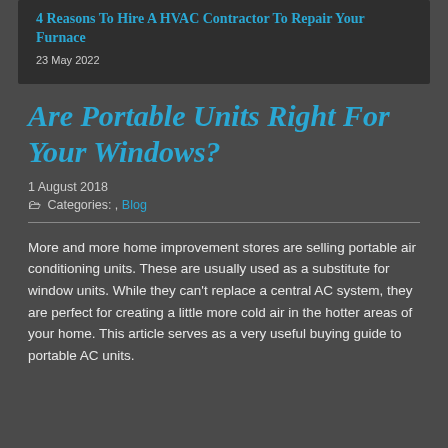4 Reasons To Hire A HVAC Contractor To Repair Your Furnace
23 May 2022
Are Portable Units Right For Your Windows?
1 August 2018
Categories: , Blog
More and more home improvement stores are selling portable air conditioning units. These are usually used as a substitute for window units. While they can't replace a central AC system, they are perfect for creating a little more cold air in the hotter areas of your home. This article serves as a very useful buying guide to portable AC units.